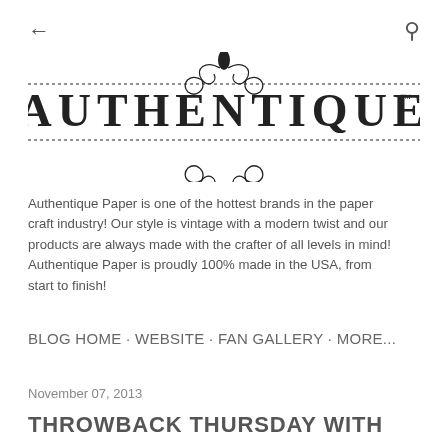[Figure (logo): Authentique Paper decorative logo with ornamental scrollwork border and large serif text reading AUTHENTIQUE with TM mark]
Authentique Paper is one of the hottest brands in the paper craft industry! Our style is vintage with a modern twist and our products are always made with the crafter of all levels in mind! Authentique Paper is proudly 100% made in the USA, from start to finish!
BLOG HOME · WEBSITE · FAN GALLERY · MORE...
November 07, 2013
THROWBACK THURSDAY WITH